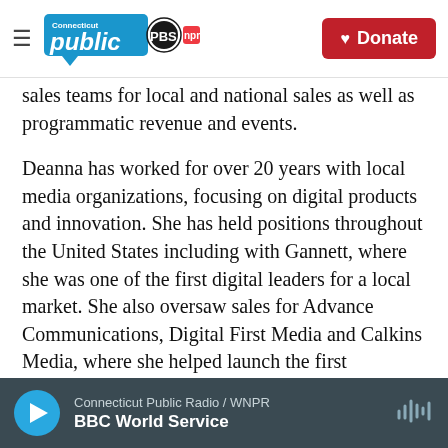Connecticut Public | PBS | NPR — Donate
sales teams for local and national sales as well as programmatic revenue and events.
Deanna has worked for over 20 years with local media organizations, focusing on digital products and innovation. She has held positions throughout the United States including with Gannett, where she was one of the first digital leaders for a local market. She also oversaw sales for Advance Communications, Digital First Media and Calkins Media, where she helped launch the first streaming channel for a local print media organization in the U.S.
She serves on the Community and
Connecticut Public Radio / WNPR — BBC World Service